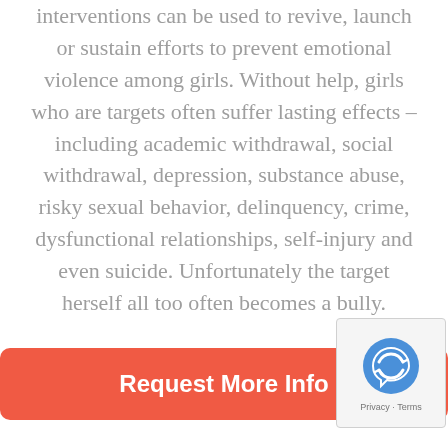interventions can be used to revive, launch or sustain efforts to prevent emotional violence among girls. Without help, girls who are targets often suffer lasting effects – including academic withdrawal, social withdrawal, depression, substance abuse, risky sexual behavior, delinquency, crime, dysfunctional relationships, self-injury and even suicide. Unfortunately the target herself all too often becomes a bully.
[Figure (other): Orange rounded rectangle button with white bold text reading 'Request More Info']
[Figure (other): CAPTCHA widget overlay in bottom-right corner showing reCAPTCHA icon with Privacy and Terms text]